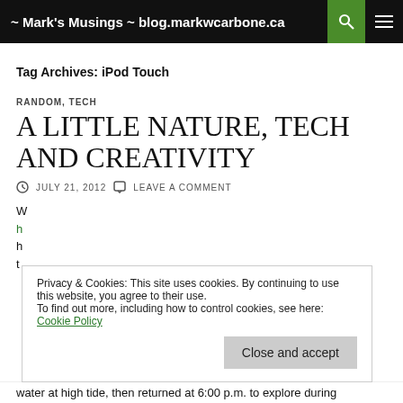~ Mark's Musings ~ blog.markwcarbone.ca
Tag Archives: iPod Touch
RANDOM, TECH
A LITTLE NATURE, TECH AND CREATIVITY
JULY 21, 2012   LEAVE A COMMENT
Privacy & Cookies: This site uses cookies. By continuing to use this website, you agree to their use. To find out more, including how to control cookies, see here: Cookie Policy
water at high tide, then returned at 6:00 p.m. to explore during